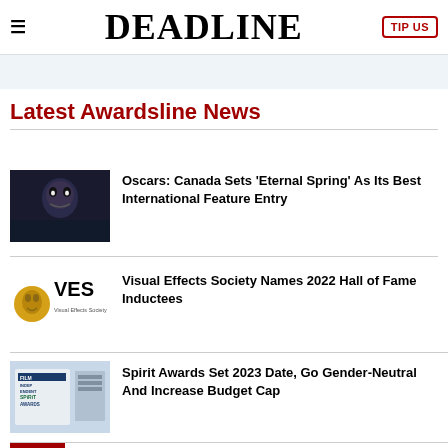DEADLINE | TIP US
[Figure (other): Light blue advertisement banner]
Latest Awardsline News
[Figure (photo): Dark stylized face illustration for Eternal Spring film]
Oscars: Canada Sets 'Eternal Spring' As Its Best International Feature Entry
[Figure (logo): VES Visual Effects Society logo in gold and black]
Visual Effects Society Names 2022 Hall of Fame Inductees
[Figure (photo): Film Independent Spirit Awards signage]
Spirit Awards Set 2023 Date, Go Gender-Neutral And Increase Budget Cap